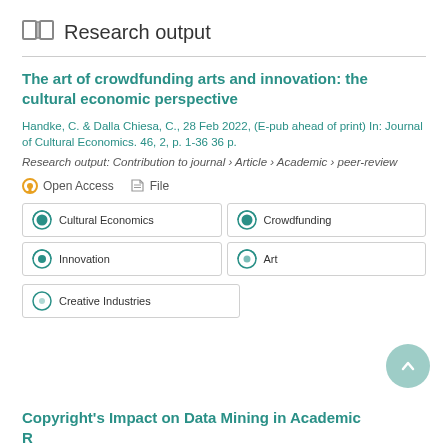Research output
The art of crowdfunding arts and innovation: the cultural economic perspective
Handke, C. & Dalla Chiesa, C., 28 Feb 2022, (E-pub ahead of print) In: Journal of Cultural Economics. 46, 2, p. 1-36 36 p.
Research output: Contribution to journal › Article › Academic › peer-review
Open Access   File
Cultural Economics
Crowdfunding
Innovation
Art
Creative Industries
Copyright's Impact on Data Mining in Academic Research